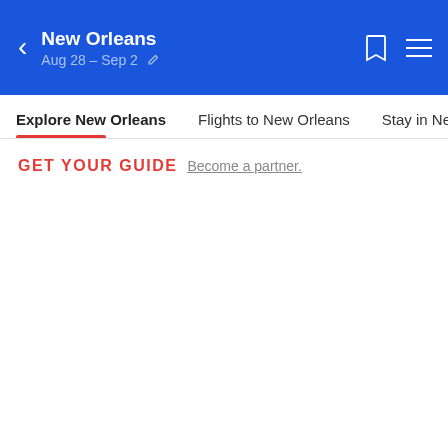New Orleans
Aug 28 - Sep 2
Explore New Orleans | Flights to New Orleans | Stay in New Orle...
GET YOUR GUIDE Become a partner.